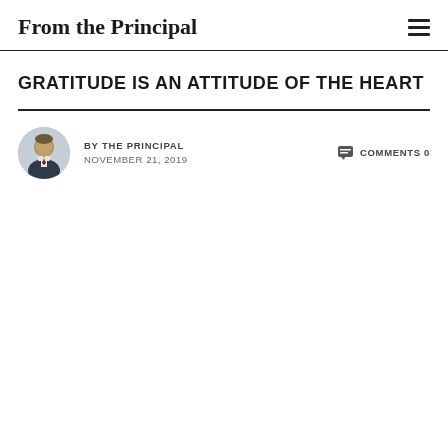From the Principal
GRATITUDE IS AN ATTITUDE OF THE HEART
BY THE PRINCIPAL
NOVEMBER 21, 2019
COMMENTS 0